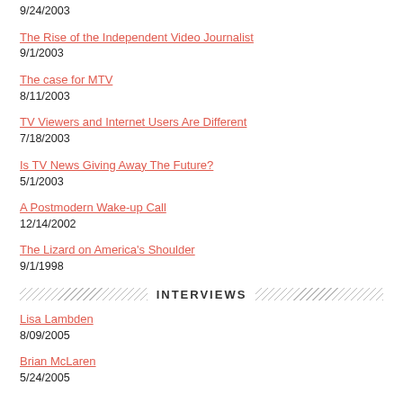9/24/2003
The Rise of the Independent Video Journalist
9/1/2003
The case for MTV
8/11/2003
TV Viewers and Internet Users Are Different
7/18/2003
Is TV News Giving Away The Future?
5/1/2003
A Postmodern Wake-up Call
12/14/2002
The Lizard on America's Shoulder
9/1/1998
INTERVIEWS
Lisa Lambden
8/09/2005
Brian McLaren
5/24/2005